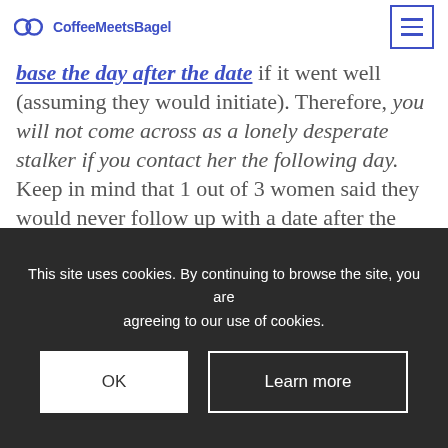CoffeeMeetsBagel
base the day after the date if it went well (assuming they would initiate). Therefore, you will not come across as a lonely desperate stalker if you contact her the following day. Keep in mind that 1 out of 3 women said they would never follow up with a date after the first date. Moral of the story – if you want to see her again, don't wait until Christmas to tell her.
This site uses cookies. By continuing to browse the site, you are agreeing to our use of cookies.
OK
Learn more